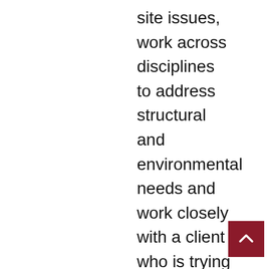site issues, work across disciplines to address structural and environmental needs and work closely with a client who is trying to navigate the regulatory process. Joe Bushey in Virginia Beach and is a proud husband and father of three teenage boys. He is an avid runner and cyclist, and he has recently taken up surfing. We can't thank Joe enough for taking time out of his busy schedule to let us catch up with him. To learn more about what he